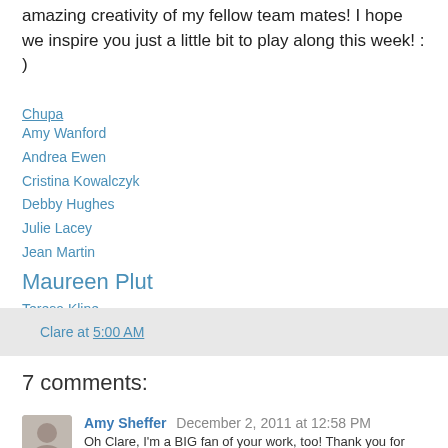amazing creativity of my fellow team mates! I hope we inspire you just a little bit to play along this week! : )
Chupa
Amy Wanford
Andrea Ewen
Cristina Kowalczyk
Debby Hughes
Julie Lacey
Jean Martin
Maureen Plut
Teresa Kline
Teneale Williams
Clare at 5:00 AM
7 comments:
Amy Sheffer December 2, 2011 at 12:58 PM
Oh Clare, I'm a BIG fan of your work, too! Thank you for